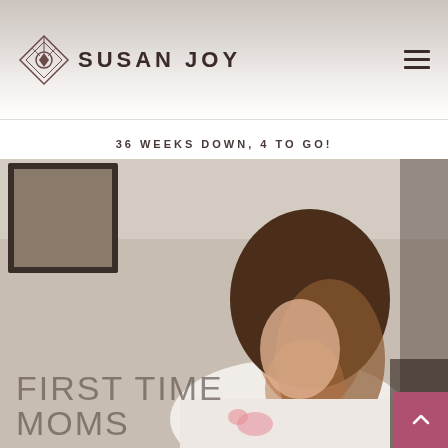SUSAN JOY
36 WEEKS DOWN, 4 TO GO!
[Figure (photo): A woman with dark brown wavy hair looking downward, wearing a white top with floral detail, photographed indoors with a framed picture on the wall in the background. Overlay text reads FIRST TIME MOMS.]
FIRST TIME MOMS